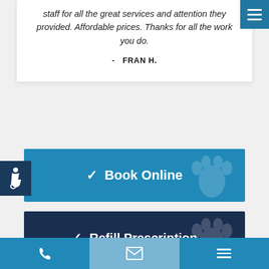staff for all the great services and attention they provided. Affordable prices. Thanks for all the work you do.
- FRAN H.
✓ Book Online
✓ Refill Prescription
✓ Pet Medical Records